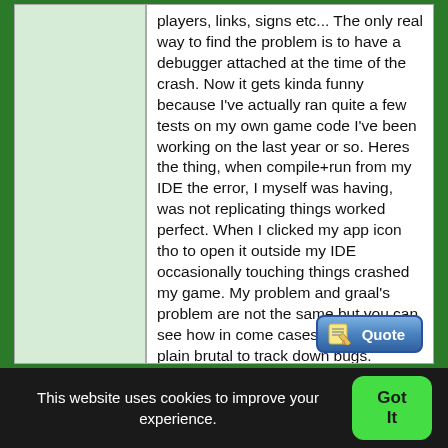players, links, signs etc... The only real way to find the problem is to have a debugger attached at the time of the crash. Now it gets kinda funny because I've actually ran quite a few tests on my own game code I've been working on the last year or so. Heres the thing, when compile+run from my IDE the error, I myself was having, was not replicating things worked perfect. When I clicked my app icon tho to open it outside my IDE occasionally touching things crashed my game. My problem and graal's problem are not the same but you can see how in come cases it can just be plain brutal to track down bugs.
[Figure (other): Quote reply button with pencil/paper icon]
This website uses cookies to improve your experience.
Got It